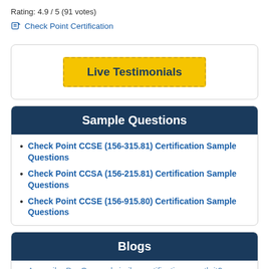Rating: 4.9 / 5 (91 votes)
Check Point Certification
[Figure (other): Live Testimonials button with yellow dashed border background]
Sample Questions
Check Point CCSE (156-315.81) Certification Sample Questions
Check Point CCSA (156-215.81) Certification Sample Questions
Check Point CCSE (156-915.80) Certification Sample Questions
Blogs
Are agile, DevOps and similar certifications worth it?
Top Benefits of Cloud Security Training and Certification